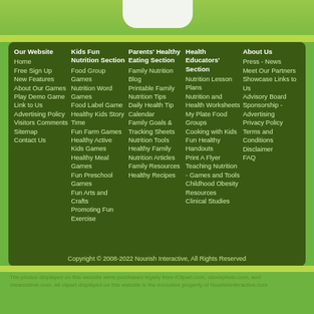Our Website
Home
Free Sign Up
New Features
About Our Games
Play Demo Game
Link to Us
Advertising Policy
Visitors Comments
Sitemap
Contact Us
Kids Fun Nutrition Section
Food Group Games
Nutrition Word Games
Food Label Game
Healthy Kids Story Time
Fun Farm Games
Healthy Active Kids Games
Healthy Meal Games
Fun Preschool Games
Fun Arts and Crafts
Promoting Fun Exercise
Parents' Healthy Eating Section
Family Nutrition Blog
Printable Family Nutrition Tips
Daily Health Tip Calendar
Family Goals & Tracking Sheets
Nutrition Tools
Healthy Family Nutrition Articles
Family Resources
Healthy Recipes
Health Educators' Section
Nutrition Lesson Plans
Nutrition and Health Worksheets
My Plate Food Groups
Cooking with Kids
Fun Healthy Handouts
Print A Flyer
Teaching Nutrition - Games and Tools
Childhood Obesity Resources
Clinical Studies
About Us
Press - News
Meet Our Partners
Showcase Links to Us
Advisory Board
Sponsorship - Advertising
Privacy Policy
Terms and Conditions
Disclaimer
FAQ
Copyright © 2008-2022 Nourish Interactive, All Rights Reserved
The photos displayed on this website were purchased legally from iClipart.com, istockphoto.com, and dreamstime.com. All clipart displayed on this website is the exclusive property of NourishInteractive.com